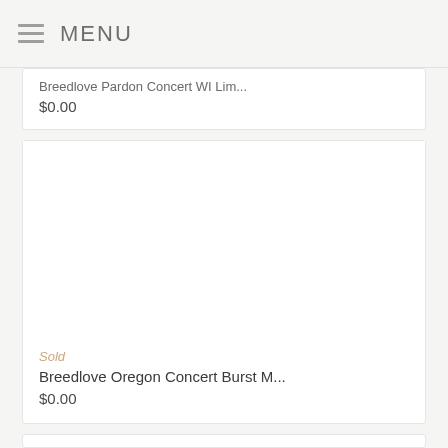MENU
Breedlove Pardon Concert WI Lim...
$0.00
Sold
Breedlove Oregon Concert Burst M...
$0.00
[Figure (other): Partial product card visible at bottom of page, blank white image area]